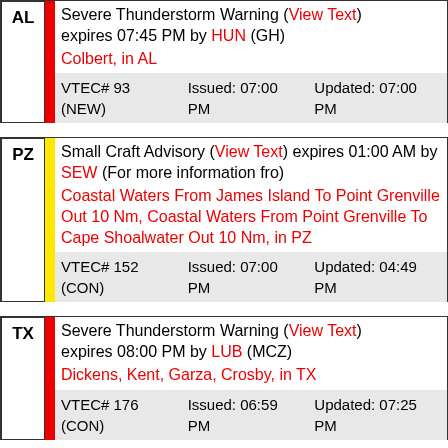AL | Severe Thunderstorm Warning (View Text) expires 07:45 PM by HUN (GH) Colbert, in AL VTEC# 93 (NEW) Issued: 07:00 PM Updated: 07:00 PM
PZ | Small Craft Advisory (View Text) expires 01:00 AM by SEW (For more information fro) Coastal Waters From James Island To Point Grenville Out 10 Nm, Coastal Waters From Point Grenville To Cape Shoalwater Out 10 Nm, in PZ VTEC# 152 (CON) Issued: 07:00 PM Updated: 04:49 PM
TX | Severe Thunderstorm Warning (View Text) expires 08:00 PM by LUB (MCZ) Dickens, Kent, Garza, Crosby, in TX VTEC# 176 (CON) Issued: 06:59 PM Updated: 07:25 PM